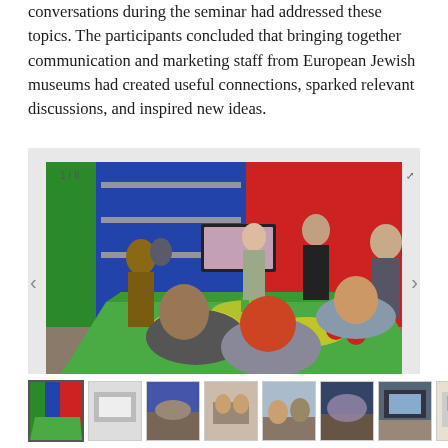conversations during the seminar had addressed these topics. The participants concluded that bringing together communication and marketing staff from European Jewish museums had created useful connections, sparked relevant discussions, and inspired new ideas.
[Figure (photo): A group of people gathered around a colorful green and yellow table in a museum exhibition space with blue, red and green walls and shelves with objects. A woman is presenting near a TV screen. Image viewer showing 1/8 photos with navigation arrows.]
[Figure (photo): Row of 8 thumbnail images from the same event/gallery visit at a museum]